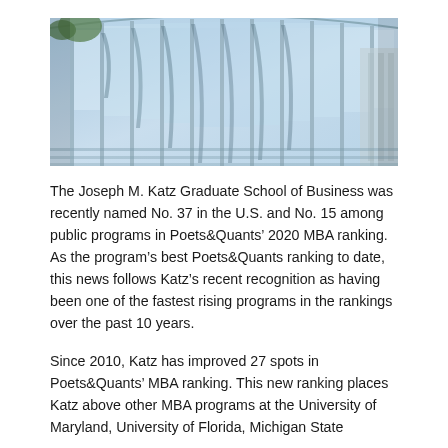[Figure (photo): Exterior photo of a modern glass-curtain-wall building with sky and trees reflected in the glass panels.]
The Joseph M. Katz Graduate School of Business was recently named No. 37 in the U.S. and No. 15 among public programs in Poets&Quants' 2020 MBA ranking. As the program's best Poets&Quants ranking to date, this news follows Katz's recent recognition as having been one of the fastest rising programs in the rankings over the past 10 years.
Since 2010, Katz has improved 27 spots in Poets&Quants' MBA ranking. This new ranking places Katz above other MBA programs at the University of Maryland, University of Florida, Michigan State